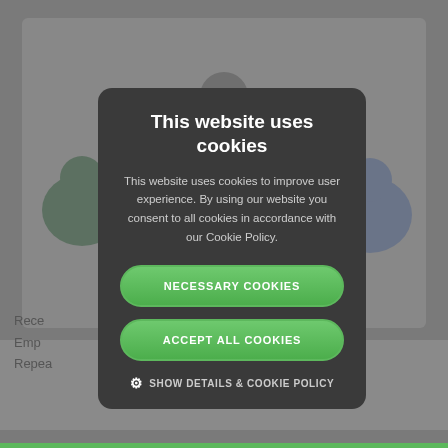[Figure (photo): Blurred background photo showing people sitting in a meeting or workshop, with a standing presenter in the center. Background text partially visible.]
This website uses cookies
This website uses cookies to improve user experience. By using our website you consent to all cookies in accordance with our Cookie Policy.
NECESSARY COOKIES
ACCEPT ALL COOKIES
SHOW DETAILS & COOKIE POLICY